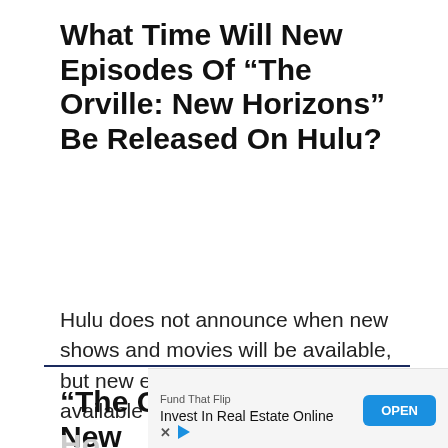What Time Will New Episodes Of “The Orville: New Horizons”  Be Released On Hulu?
Hulu does not announce when new shows and movies will be available, but new episodes are usually available at 12:01 a.m. ET
“The Orville: New Horizons”